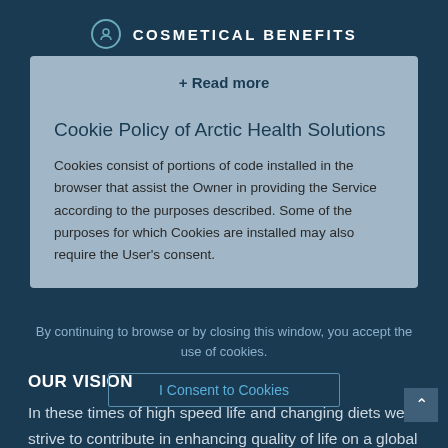COSMETICAL BENEFITS
+ Read more
Cookie Policy of Arctic Health Solutions
Cookies consist of portions of code installed in the browser that assist the Owner in providing the Service according to the purposes described. Some of the purposes for which Cookies are installed may also require the User's consent.
By continuing to browse or by closing this window, you accept the use of cookies.
I Consent to Cookies
OUR VISION
In these times of high speed life and changing diets we strive to contribute in enhancing quality of life on a global scale by creating awareness about health and lifestyle and bringing a unique natural, high quality product on the market that helps restore the real fundamentals of our metabolism